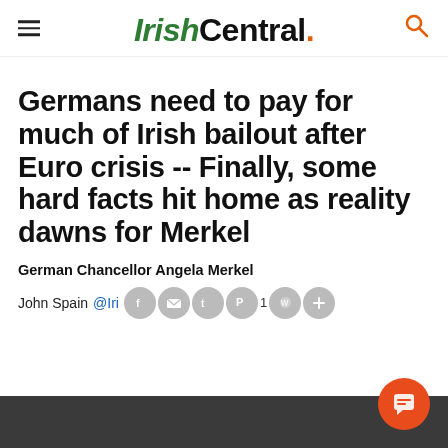IrishCentral.
Germans need to pay for much of Irish bailout after Euro crisis -- Finally, some hard facts hit home as reality dawns for Merkel
German Chancellor Angela Merkel
John Spain @Iri...